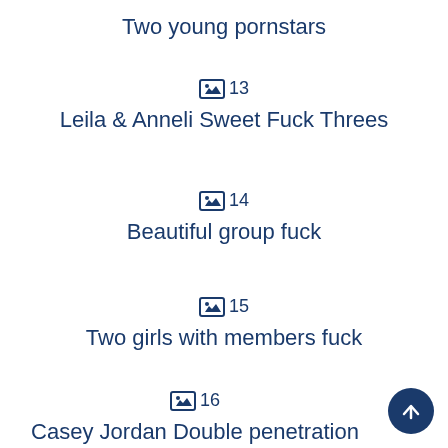Two young pornstars
🖼 13
Leila & Anneli Sweet Fuck Threes
🖼 14
Beautiful group fuck
🖼 15
Two girls with members fuck
🖼 16
Casey Jordan Double penetration